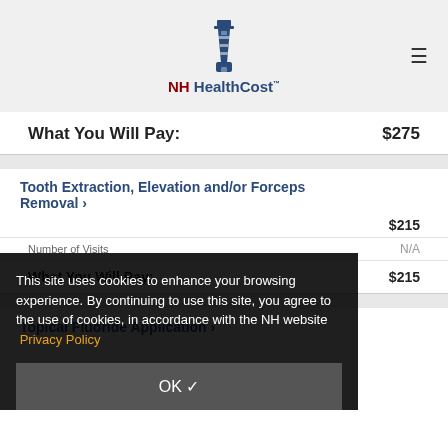[Figure (logo): NH HealthCost lighthouse logo with red 'NH' and dark blue 'HealthCost' text and TM mark]
What You Will Pay: $275
Tooth Extraction, Elevation and/or Forceps Removal >
What You Will Pay: $215
Number of Visits: N/A
What You Will Pay: $215
This site uses cookies to enhance your browsing experience. By continuing to use this site, you agree to the use of cookies, in accordance with the NH website Privacy Policy
OK ✓
Topical Fluoride Application >